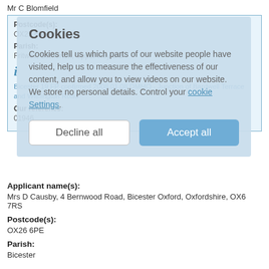Mr C Blomfield
Postcode(s):
OX25 6NN
Parish:
Fritwell, Somerton, Upper Heyford
Bicester 19 FP confirmed 2008.01.08 DMMO - Junction of Bardwell Terrace and Withington Road
Our reference:
01946
[Figure (screenshot): Cookie consent overlay with title 'Cookies', descriptive text about cookie usage, a 'Decline all' button and an 'Accept all' button]
Applicant name(s):
Mrs D Causby, 4 Bernwood Road, Bicester Oxford, Oxfordshire, OX6 7RS
Postcode(s):
OX26 6PE
Parish:
Bicester